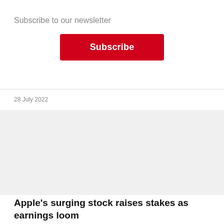×
Subscribe to our newsletter
Subscribe
28 July 2022
[Figure (photo): Gray placeholder image area]
Apple's surging stock raises stakes as earnings loom